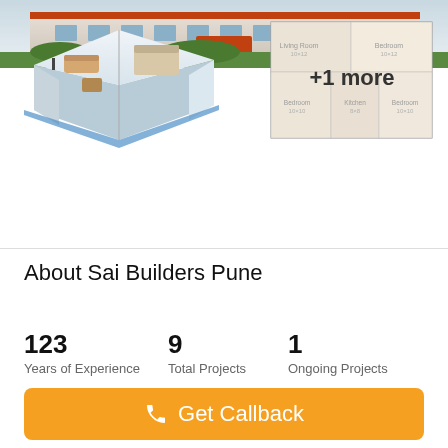[Figure (photo): Exterior view of a residential apartment building with orange accents and greenery]
[Figure (other): 3D isometric floor plan view of an apartment unit]
[Figure (other): 2D floor plan blueprint with room labels, overlaid with '+1 more' text]
About Sai Builders Pune
123
Years of Experience
9
Total Projects
1
Ongoing Projects
Get Callback